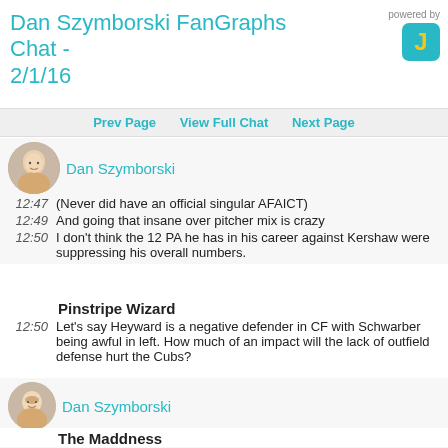powered by
Dan Szymborski FanGraphs Chat - 2/1/16
Prev Page  View Full Chat  Next Page
Dan Szymborski
12:47  (Never did have an official singular AFAICT)
12:49  And going that insane over pitcher mix is crazy
12:50  I don't think the 12 PA he has in his career against Kershaw were suppressing his overall numbers.
Pinstripe Wizard
12:50  Let's say Heyward is a negative defender in CF with Schwarber being awful in left. How much of an impact will the lack of outfield defense hurt the Cubs?
Dan Szymborski
12:50  Well, they'll allow additional runs.
The Maddness